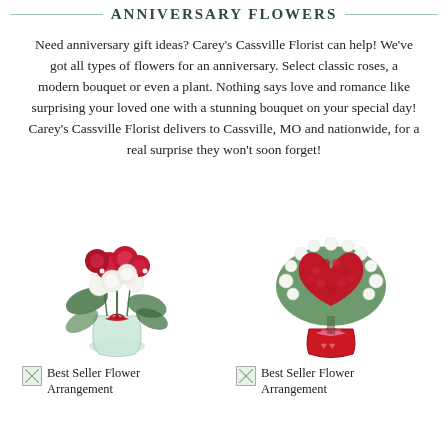ANNIVERSARY FLOWERS
Need anniversary gift ideas? Carey's Cassville Florist can help! We've got all types of flowers for an anniversary. Select classic roses, a modern bouquet or even a plant. Nothing says love and romance like surprising your loved one with a stunning bouquet on your special day! Carey's Cassville Florist delivers to Cassville, MO and nationwide, for a real surprise they won't soon forget!
[Figure (photo): A large bouquet of red and white roses in a clear glass vase with a red ribbon.]
[Figure (photo): A heart-shaped arrangement of red carnations surrounded by white daisies in a red vase with a pink ribbon.]
Best Seller Flower Arrangement
Best Seller Flower Arrangement